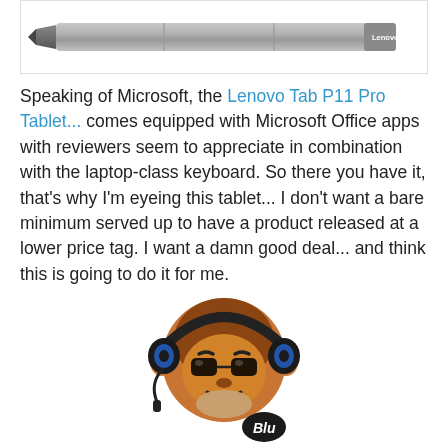[Figure (photo): A silver Lenovo stylus pen with 'Lenovo' branding on the right end, shown on white background with a light border.]
Speaking of Microsoft, the Lenovo Tab P11 Pro Tablet... comes equipped with Microsoft Office apps with reviewers seem to appreciate in combination with the laptop-class keyboard. So there you have it, that's why I'm eyeing this tablet... I don't want a bare minimum served up to have a product released at a lower price tag. I want a damn good deal... and think this is going to do it for me.
[Figure (logo): Cartoon illustration of a gorilla/monkey wearing headphones and sunglasses with 'Blu' text, serving as a mascot logo.]